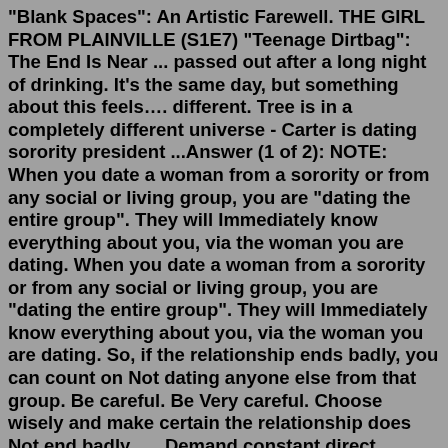"Blank Spaces": An Artistic Farewell. THE GIRL FROM PLAINVILLE (S1E7) "Teenage Dirtbag": The End Is Near ... passed out after a long night of drinking. It's the same day, but something about this feels…. different. Tree is in a completely different universe - Carter is dating sorority president ...Answer (1 of 2): NOTE: When you date a woman from a sorority or from any social or living group, you are "dating the entire group". They will Immediately know everything about you, via the woman you are dating. When you date a woman from a sorority or from any social or living group, you are "dating the entire group". They will Immediately know everything about you, via the woman you are dating. So, if the relationship ends badly, you can count on Not dating anyone else from that group. Be careful. Be Very careful. Choose wisely and make certain the relationship does Not end badly...... Demand constant direct Snaps, video calls, phone calls and dedicated videos. Make sure that he has an end game in mind and that he is willing to fight for you, as you are for